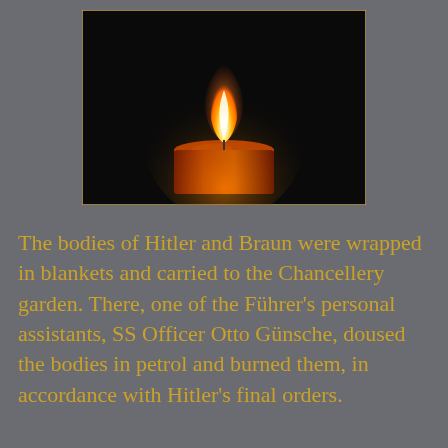[Figure (photo): A lit candle with a bright flame against a dark black background. The candle is red/orange and the flame glows warmly.]
The bodies of Hitler and Braun were wrapped in blankets and carried to the Chancellery garden. There, one of the Führer's personal assistants, SS Officer Otto Günsche, doused the bodies in petrol and burned them, in accordance with Hitler's final orders.